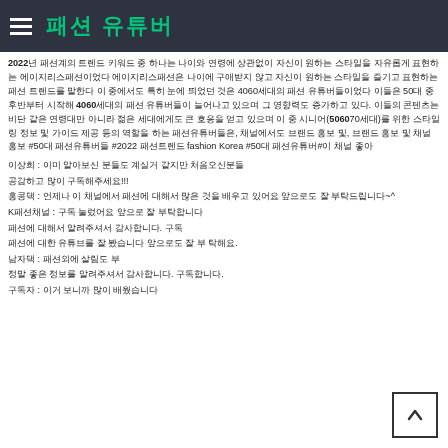패션 유튜버
2022년 패션계의 트렌드 키워드 중 하나는 나이와 연령에 상관없이 자신이 원하는 스타일을 자유롭게 표현하는 에이지리스패션이었다 에이지리스패션은 나이에 구애받지 않고 자신이 원하는 스타일을 즐기고 표현하는 패션 트렌드를 말한다 이 중에서도 특히 눈에 띄었던 것은 4060세대의 패션 유튜버들이었다 이들은 50대 중후반부터 시작해 4060세대의 패션 유튜버들이 늘어나고 있으며 그 영향력도 증가하고 있다. 이들의 콘텐츠는 비단 같은 연령대만 아니라 젊은 세대에게도 큰 호응을 얻고 있으며 이 중 시니어(506070세대)를 위한 스타일링 정보 및 가이드 제공 등의 역할을 하는 패션유튜버들은, 채널에서도 브랜드 홍보 및, 브랜드 홍보 및 채널 홍보 #50대 패션유튜버들 #2022 패션트렌드 fashion Korea #50대 패션유튜버#이 채널 좋아
이상희 : 이미 알아보신 분들도 계실거 같지만 처음오신분들
공감하고 많이 구독해주세요!!!
홍콩댁 : 언제나 이 채널에서 패션에 대해서 많은 것을 배우고 있어요 앞으로도 잘 부탁드립니다~^
K패션채널 : 구독 눌렀어요 앞으로 잘 부탁합니다
패션에 대해서 알려주셔서 감사합니다. 구독
패션에 대한 유튜브를 잘 봤습니다 앞으로도 잘 부 탁해요.
남자댁 : 패션외에 살림도 부
정말 좋은 정보를 알려주셔서 감사합니다. 구독합니다.
구독자 : 이거 보니까 많이 배웠습니다